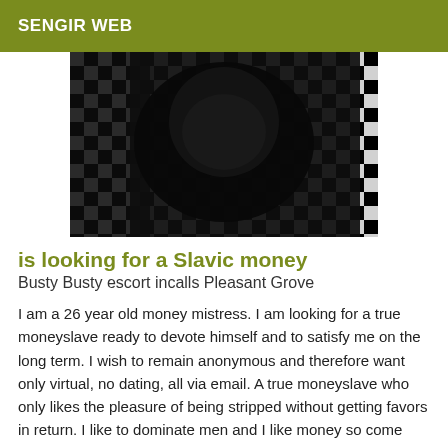SENGIR WEB
[Figure (photo): A person dressed in black clothing on a black and white checkered background, photo cropped to show torso area.]
is looking for a Slavic money
Busty Busty escort incalls Pleasant Grove
I am a 26 year old money mistress. I am looking for a true moneyslave ready to devote himself and to satisfy me on the long term. I wish to remain anonymous and therefore want only virtual, no dating, all via email. A true moneyslave who only likes the pleasure of being stripped without getting favors in return. I like to dominate men and I like money so come and be robbed